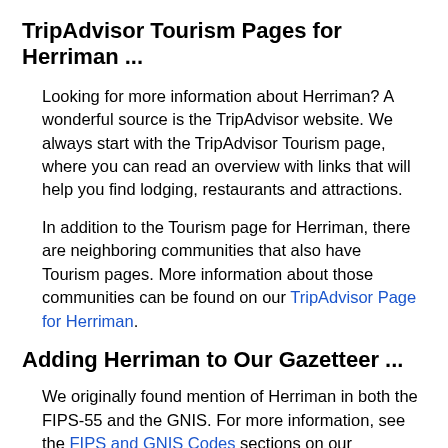TripAdvisor Tourism Pages for Herriman ...
Looking for more information about Herriman? A wonderful source is the TripAdvisor website. We always start with the TripAdvisor Tourism page, where you can read an overview with links that will help you find lodging, restaurants and attractions.
In addition to the Tourism page for Herriman, there are neighboring communities that also have Tourism pages. More information about those communities can be found on our TripAdvisor Page for Herriman.
Adding Herriman to Our Gazetteer ...
We originally found mention of Herriman in both the FIPS-55 and the GNIS. For more information, see the FIPS and GNIS Codes sections on our Miscellaneous Page.
In addition, our notes show that the earliest dated mention that we've found for Herriman